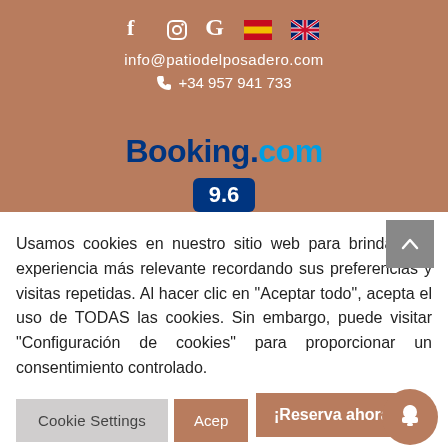f  Instagram  G  🇪🇸  🇬🇧
info@patiodelposadero.com
+34 957 941 733
[Figure (logo): Booking.com logo with score 9.6]
Usamos cookies en nuestro sitio web para brindarle la experiencia más relevante recordando sus preferencias y visitas repetidas. Al hacer clic en "Aceptar todo", acepta el uso de TODAS las cookies. Sin embargo, puede visitar "Configuración de cookies" para proporcionar un consentimiento controlado.
Cookie Settings   Acep   ¡Reserva ahora!